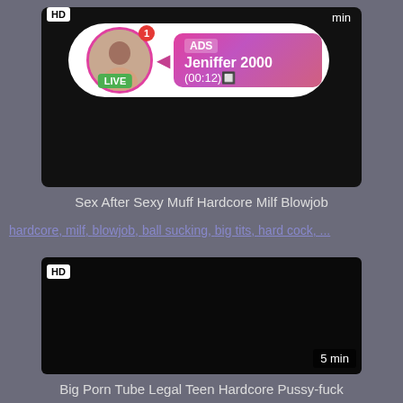[Figure (screenshot): Video thumbnail - dark/black background with HD badge and LIVE ad overlay showing profile picture and 'ADS Jeniffer 2000 (00:12)' notification]
Sex After Sexy Muff Hardcore Milf Blowjob
hardcore, milf, blowjob, ball sucking, big tits, hard cock, ...
[Figure (screenshot): Dark/black video thumbnail with HD badge bottom-left and '5 min' badge bottom-right]
Big Porn Tube Legal Teen Hardcore Pussy-fuck